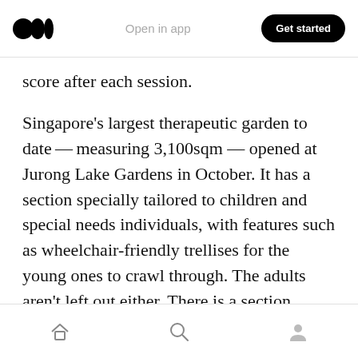Open in app | Get started
score after each session.
Singapore’s largest therapeutic garden to date—measuring 3,100sqm — opened at Jurong Lake Gardens in October. It has a section specially tailored to children and special needs individuals, with features such as wheelchair-friendly trellises for the young ones to crawl through. The adults aren’t left out either. There is a section where they get to engage their senses while interacting with nature too. Two more therapeutic gardens are slated to open at Pasir Ris Park and Bedok Reservoir Park.
Home | Search | Profile